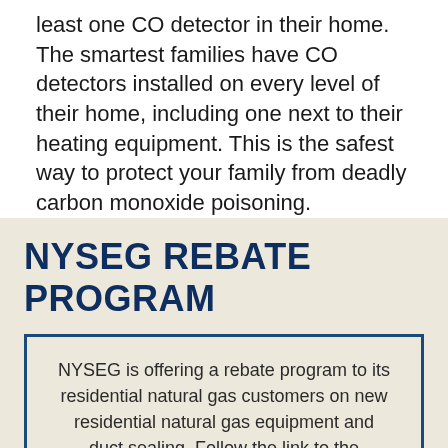least one CO detector in their home. The smartest families have CO detectors installed on every level of their home, including one next to their heating equipment. This is the safest way to protect your family from deadly carbon monoxide poisoning.
NYSEG REBATE PROGRAM
NYSEG is offering a rebate program to its residential natural gas customers on new residential natural gas equipment and duct sealing. Follow the link to the NYSEG Rebate Program for information and to see if you